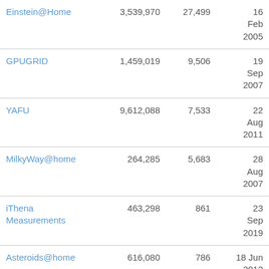| Einstein@Home | 3,539,970 | 27,499 | 16 Feb 2005 |
| GPUGRID | 1,459,019 | 9,506 | 19 Sep 2007 |
| YAFU | 9,612,088 | 7,533 | 22 Aug 2011 |
| MilkyWay@home | 264,285 | 5,683 | 28 Aug 2007 |
| iThena Measurements | 463,298 | 861 | 23 Sep 2019 |
| Asteroids@home | 616,080 | 786 | 18 Jun 2012 |
| DENIS@Home | 38,152 | 477 | 8 Apr 2015 |
| WUProp@Home | 946,092 | 237 | 28 |